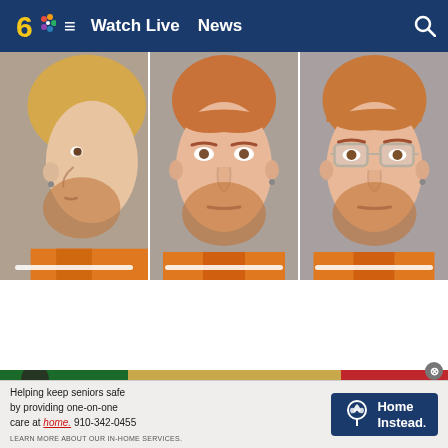6 NBC  ≡  Watch Live  News  🔍
[Figure (photo): Three mugshot photos of a red-haired man with facial hair, shown from three different angles: left profile, front facing, and front facing with glasses. He is wearing an orange jail jumpsuit. Bottom of each photo shows a white progress/indicator bar.]
[Figure (photo): Partial colorful banner image with green, gold, and red sections, and a woman's silhouette visible on the left side.]
Helping keep seniors safe by providing one-on-one care at home. 910-342-0455
LEARN MORE ABOUT OUR IN-HOME SERVICES.
[Figure (logo): Home Instead logo — circular tulip icon with 'Home Instead.' text in white on dark blue background]